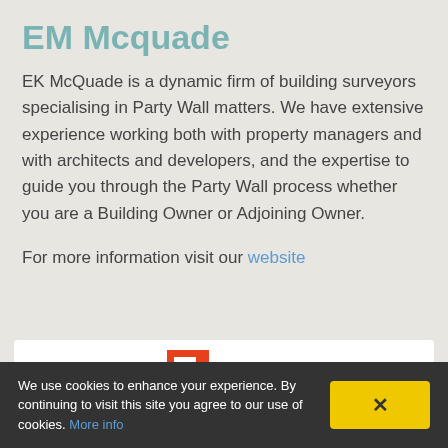EM Mcquade
EK McQuade is a dynamic firm of building surveyors specialising in Party Wall matters. We have extensive experience working both with property managers and with architects and developers, and the expertise to guide you through the Party Wall process whether you are a Building Owner or Adjoining Owner.
For more information visit our website
[Figure (logo): Partial Flipboard logo with red F block and dashes visible in a white embed box]
We use cookies to enhance your experience. By continuing to visit this site you agree to our use of cookies. More info